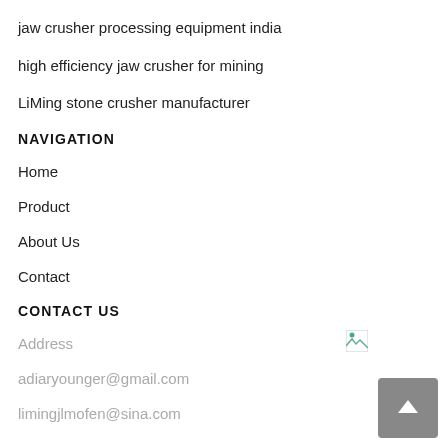jaw crusher processing equipment india
high efficiency jaw crusher for mining
LiMing stone crusher manufacturer
NAVIGATION
Home
Product
About Us
Contact
CONTACT US
Address
adiaryounger@gmail.com
limingjlmofen@sina.com